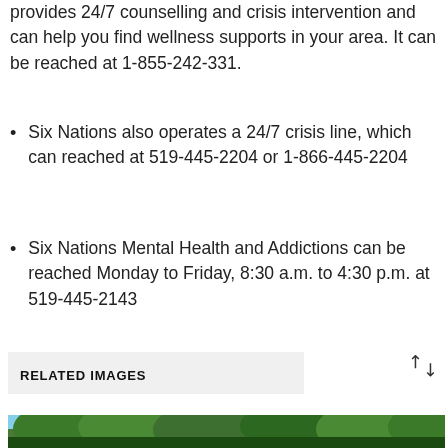provides 24/7 counselling and crisis intervention and can help you find wellness supports in your area. It can be reached at 1-855-242-331.
Six Nations also operates a 24/7 crisis line, which can reached at 519-445-2204 or 1-866-445-2204
Six Nations Mental Health and Addictions can be reached Monday to Friday, 8:30 a.m. to 4:30 p.m. at 519-445-2143
RELATED IMAGES
[Figure (photo): Trees with green foliage against a blue sky]